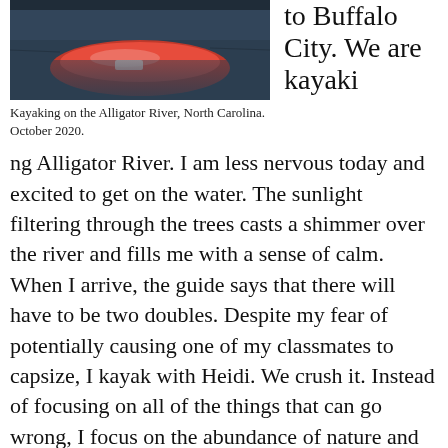[Figure (photo): Red kayak on dark water, viewed from above at an angle, on the Alligator River, North Carolina, October 2020.]
Kayaking on the Alligator River, North Carolina. October 2020.
to Buffalo City. We are kayaking Alligator River. I am less nervous today and excited to get on the water. The sunlight filtering through the trees casts a shimmer over the river and fills me with a sense of calm. When I arrive, the guide says that there will have to be two doubles. Despite my fear of potentially causing one of my classmates to capsize, I kayak with Heidi. We crush it. Instead of focusing on all of the things that can go wrong, I focus on the abundance of nature and plants we have learned about in ecology. I spy Spanish moss and trees with knob roots. When we're in the wide expanse of the river, I focus on improving my kayaking skills and eventually learn how to paddle, steer, and back-paddle. This...